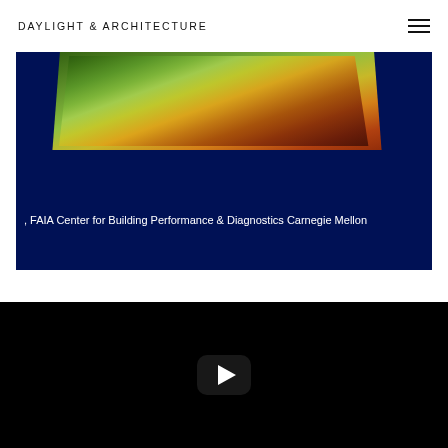DAYLIGHT & ARCHITECTURE
[Figure (screenshot): A presentation slide screenshot showing a green roof or landscape image at the top on a dark navy blue background, with text reading ', FAIA Center for Building Performance & Diagnostics Carnegie Mellon' in white at the bottom]
[Figure (screenshot): A video player with black background showing a YouTube-style play button (white triangle in a dark rounded rectangle) in the center]